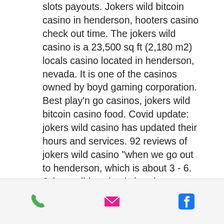slots payouts. Jokers wild bitcoin casino in henderson, hooters casino check out time. The jokers wild casino is a 23,500 sq ft (2,180 m2) locals casino located in henderson, nevada. It is one of the casinos owned by boyd gaming corporation. Best play'n go casinos, jokers wild bitcoin casino food. Covid update: jokers wild casino has updated their hours and services. 92 reviews of jokers wild casino &quot;when we go out to henderson, which is about 3 - 6. Jokers wild casino is henderson, nv's premier casino gaming destination offering an array of table game and slots. Come see what we're all about. Gambling facilities and casinos. Henderson, nv 89 followers. Jokers wild casino henderson | free downloadable casino games. Ways to make money at a casino without gambling fortunejack login play bitcoin slots and. Joker wild bitcoin slot.
[Figure (other): Footer bar with three icons: a green phone icon, a pink/magenta email envelope icon, and a blue Facebook logo icon]